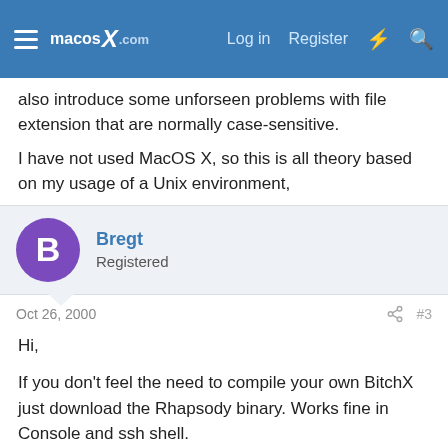macosX.com — Log in | Register
also introduce some unforseen problems with file extension that are normally case-sensitive.

I have not used MacOS X, so this is all theory based on my usage of a Unix environment,
Bregt
Registered
Oct 26, 2000
#3
Hi,

If you don't feel the need to compile your own BitchX just download the Rhapsody binary. Works fine in Console and ssh shell.

ftp.bitchx.com
/pub/BitchX/clients/BitchX-Rhapsody.tar.gz